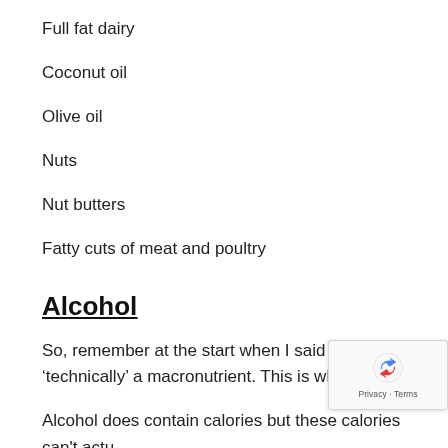Full fat dairy
Coconut oil
Olive oil
Nuts
Nut butters
Fatty cuts of meat and poultry
Alcohol
So, remember at the start when I said alcohol is ‘technically’ a macronutrient. This is why:
Alcohol does contain calories but these calories can’t actu stored in the body.